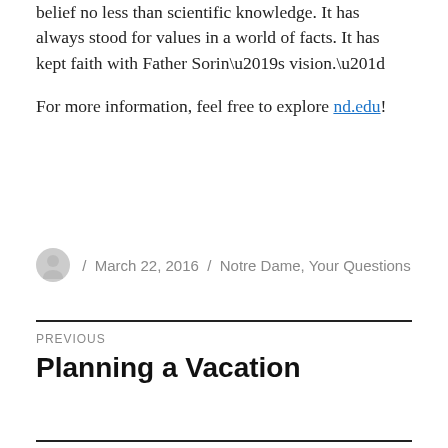belief no less than scientific knowledge. It has always stood for values in a world of facts. It has kept faith with Father Sorin’s vision.”

For more information, feel free to explore nd.edu!
March 22, 2016 / Notre Dame, Your Questions
Previous
Planning a Vacation